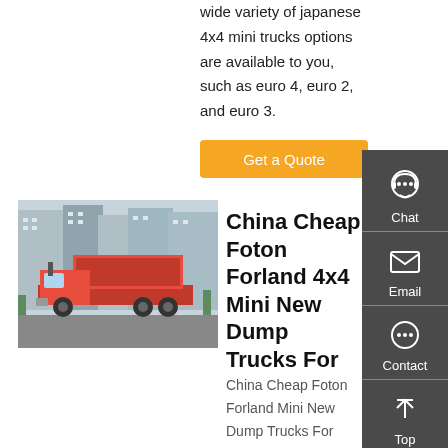wide variety of japanese 4x4 mini trucks options are available to you, such as euro 4, euro 2, and euro 3.
Get a Quote
[Figure (photo): Red Foton Forland dump truck parked on a road with apartment buildings in the background]
China Cheap Foton Forland 4x4 Mini New Dump Trucks For
China Cheap Foton Forland Mini New Dump Trucks For Sale, US $ 13000 - 13500 / Unit, 4x4, 1 - 10t, 90.Source from Qingdao Seize The Future Automobile